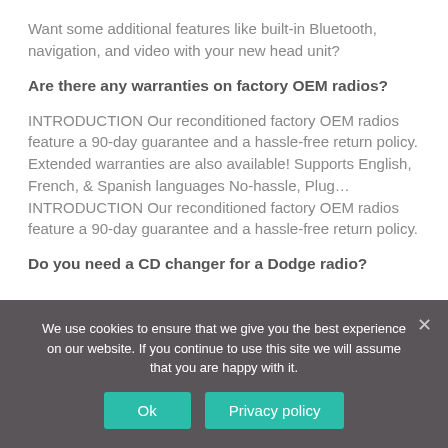Want some additional features like built-in Bluetooth, navigation, and video with your new head unit?
Are there any warranties on factory OEM radios?
INTRODUCTION Our reconditioned factory OEM radios feature a 90-day guarantee and a hassle-free return policy. Extended warranties are also available! Supports English, French, & Spanish languages No-hassle, Plug… INTRODUCTION Our reconditioned factory OEM radios feature a 90-day guarantee and a hassle-free return policy.
Do you need a CD changer for a Dodge radio?
We use cookies to ensure that we give you the best experience on our website. If you continue to use this site we will assume that you are happy with it.